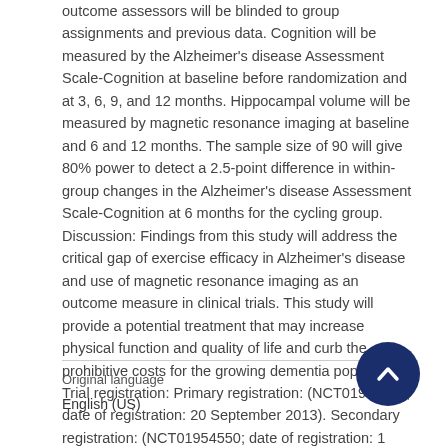outcome assessors will be blinded to group assignments and previous data. Cognition will be measured by the Alzheimer's disease Assessment Scale-Cognition at baseline before randomization and at 3, 6, 9, and 12 months. Hippocampal volume will be measured by magnetic resonance imaging at baseline and 6 and 12 months. The sample size of 90 will give 80% power to detect a 2.5-point difference in within-group changes in the Alzheimer's disease Assessment Scale-Cognition at 6 months for the cycling group. Discussion: Findings from this study will address the critical gap of exercise efficacy in Alzheimer's disease and use of magnetic resonance imaging as an outcome measure in clinical trials. This study will provide a potential treatment that may increase physical function and quality of life and curb the prohibitive costs for the growing dementia population. Trial registration: Primary registration: (NCT01954550; date of registration: 20 September 2013). Secondary registration: (NCT01954550; date of registration: 1 October 2013).
Original language
English (US)